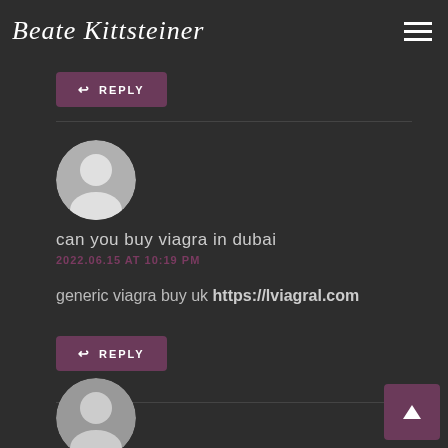Beate Kittsteiner
REPLY
can you buy viagra in dubai
2022.06.15 AT 10:19 PM
generic viagra buy uk https://lviagral.com
REPLY